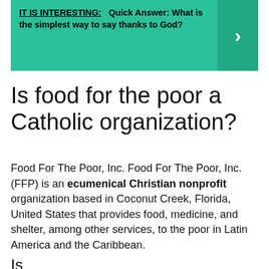[Figure (infographic): Green banner with text: IT IS INTERESTING: Quick Answer: What is the simplest way to say thanks to God? with a right-arrow chevron on the right side on a darker green background.]
Is food for the poor a Catholic organization?
Food For The Poor, Inc. Food For The Poor, Inc. (FFP) is an ecumenical Christian nonprofit organization based in Coconut Creek, Florida, United States that provides food, medicine, and shelter, among other services, to the poor in Latin America and the Caribbean.